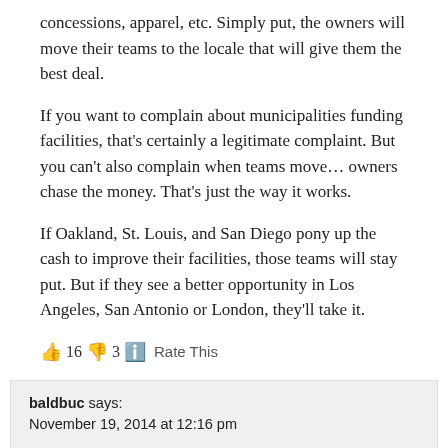concessions, apparel, etc. Simply put, the owners will move their teams to the locale that will give them the best deal.
If you want to complain about municipalities funding facilities, that's certainly a legitimate complaint. But you can't also complain when teams move… owners chase the money. That's just the way it works.
If Oakland, St. Louis, and San Diego pony up the cash to improve their facilities, those teams will stay put. But if they see a better opportunity in Los Angeles, San Antonio or London, they'll take it.
👍 16 👎 3 ℹ️ Rate This
baldbuc says:
November 19, 2014 at 12:16 pm
Joe Buck is forgetting that St. Louis stole the Rams from LA to start with. What goes around comes around.